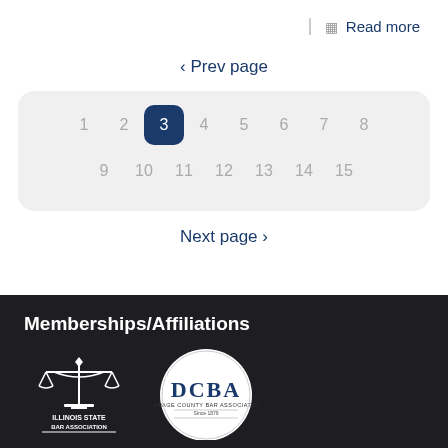Read more
‹ Prev page
1 2 3 4 5 6 7 8 9 10 11 12 13 14 15
Next page ›
Memberships/Affiliations
[Figure (logo): Illinois State Bar Association logo — scales of justice icon with text 'ILLINOIS STATE BAR ASSOCIATION']
[Figure (logo): DCBA — DuPage County Bar Association logo — circular badge with text 'DCBA DUPAGE COUNTY BAR ASSOCIATION Since 1879']